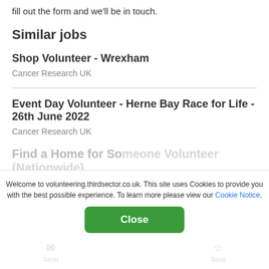fill out the form and we'll be in touch.
Similar jobs
Shop Volunteer - Wrexham
Cancer Research UK
Event Day Volunteer - Herne Bay Race for Life - 26th June 2022
Cancer Research UK
Find a Home for Someone Volunteer (Nationwide)
GMIB
Welcome to volunteering.thirdsector.co.uk. This site uses Cookies to provide you with the best possible experience. To learn more please view our Cookie Notice.